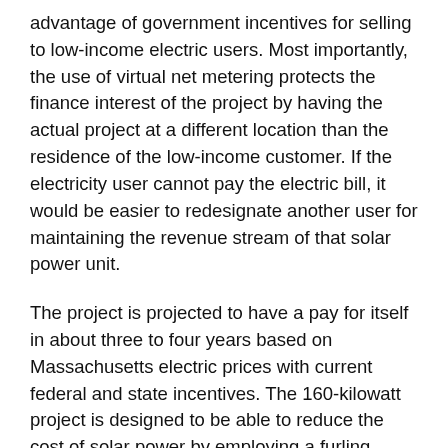advantage of government incentives for selling to low-income electric users. Most importantly, the use of virtual net metering protects the finance interest of the project by having the actual project at a different location than the residence of the low-income customer. If the electricity user cannot pay the electric bill, it would be easier to redesignate another user for maintaining the revenue stream of that solar power unit.
The project is projected to have a pay for itself in about three to four years based on Massachusetts electric prices with current federal and state incentives. The 160-kilowatt project is designed to be able to reduce the cost of solar power by employing a furling technology borrowed from wind technology for protection in the case of high wind events. The technique improves the efficiency of solar arrays without adding significant additional expense. Mass Megawatts is responsible